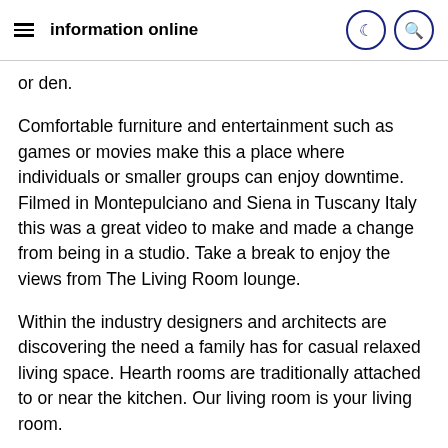information online
or den.
Comfortable furniture and entertainment such as games or movies make this a place where individuals or smaller groups can enjoy downtime. Filmed in Montepulciano and Siena in Tuscany Italy this was a great video to make and made a change from being in a studio. Take a break to enjoy the views from The Living Room lounge.
Within the industry designers and architects are discovering the need a family has for casual relaxed living space. Hearth rooms are traditionally attached to or near the kitchen. Our living room is your living room.
House plans with hearth rooms are popular in home design. A hearth room is a dining room of sorts in